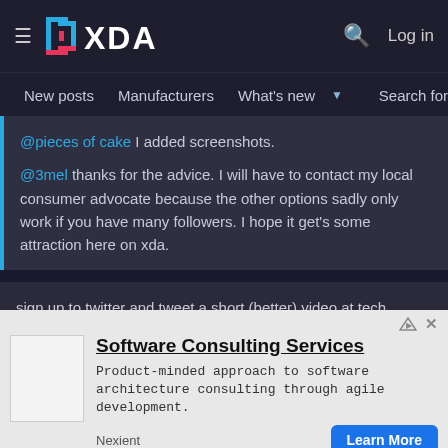XDA — New posts  Manufacturers  What's new  Search forums  Members  Log in
@pieces of cake I added screenshots.
@3mel thanks for the advice. I will have to contact my local consumer advocate because the other options sadly only work if you have many followers. I hope it get's some attraction here on xda.
sign up to twitter and tweet a short (better) video at tech bloggers, journalists and influencers, it's their followers and reach you're trying to co-opt. Louis Rossman would be a good place to start.
pieces of cake and officialHFR
[Figure (screenshot): Advertisement for Software Consulting Services by Nexient with a Learn More button]